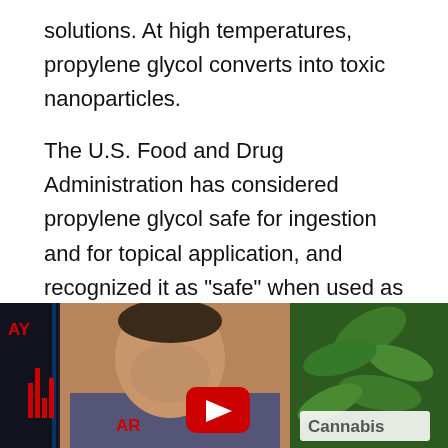solutions. At high temperatures, propylene glycol converts into toxic nanoparticles.
The U.S. Food and Drug Administration has considered propylene glycol safe for ingestion and for topical application, and recognized it as “safe” when used as a food additive.
CBD Oil Free Sample Bottle : Cannabis vs Cancer Dr Sanjay Gupta CNN The Pure CBD Oil Discovery
[Figure (screenshot): Video thumbnail showing a man being interviewed on CNN, with cannabis leaves visible in the background. A YouTube play button is overlaid in the center. Text 'Cannabis' appears in the lower right. Lower left shows 'AY' logo and CNN bar graphics.]